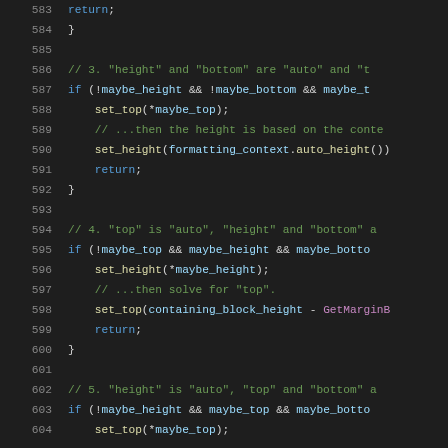Source code lines 583-604, C++ styling with syntax highlighting
583: return;
584: }
585:
586: // 3. "height" and "bottom" are "auto" and "t...
587: if (!maybe_height && !maybe_bottom && maybe_t...
588: set_top(*maybe_top);
589: // ...then the height is based on the conte...
590: set_height(formatting_context.auto_height())
591: return;
592: }
593:
594: // 4. "top" is "auto", "height" and "bottom" a...
595: if (!maybe_top && maybe_height && maybe_botto...
596: set_height(*maybe_height);
597: // ...then solve for "top".
598: set_top(containing_block_height - GetMarginB...
599: return;
600: }
601:
602: // 5. "height" is "auto", "top" and "bottom" a...
603: if (!maybe_height && maybe_top && maybe_botto...
604: set_top(*maybe_top);